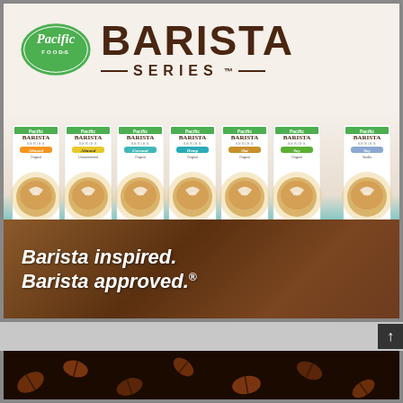[Figure (illustration): Pacific Foods Barista Series advertisement showing the Pacific Foods logo (green oval with white script text 'Pacific FOODS') alongside large brown text 'BARISTA SERIES™'. Seven product cartons are displayed in a row: Almond Original, Almond Unsweetened, Coconut Original, Hemp Original, Oat Original, Soy Original, and Soy Vanilla. Below the products on a wood-grain background is the tagline 'Barista inspired. Barista approved.®']
[Figure (photo): Close-up photo of dark roasted coffee beans scattered on a dark surface, partially visible at the bottom of the page.]